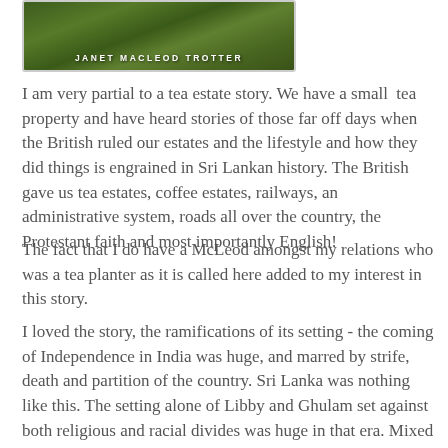[Figure (illustration): Book cover image with green foliage background and author name JANET MACLEOD TROTTER in white text]
I am very partial to a tea estate story. We have a small tea property and have heard stories of those far off days when the British ruled our estates and the lifestyle and how they did things is engrained in Sri Lankan history. The British gave us tea estates, coffee estates, railways, an administrative system, roads all over the country, the Protestant faith and most importantly English!
The fact that I do have a McLeod amongst my relations who was a tea planter as it is called here added to my interest in this story.
I loved the story, the ramifications of its setting - the coming of Independence in India was huge, and marred by strife, death and partition of the country. Sri Lanka was nothing like this. The setting alone of Libby and Ghulam set against both religious and racial divides was huge in that era. Mixed marriages were few and far between. The story of Logan and the way he treated the local women is a commonplace issue